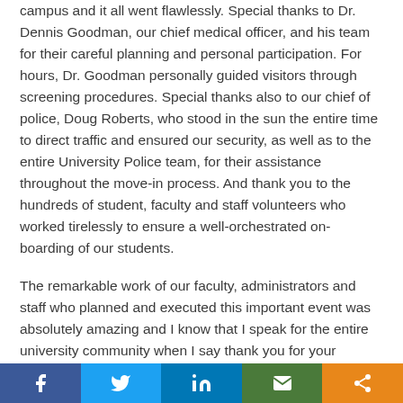campus and it all went flawlessly. Special thanks to Dr. Dennis Goodman, our chief medical officer, and his team for their careful planning and personal participation. For hours, Dr. Goodman personally guided visitors through screening procedures. Special thanks also to our chief of police, Doug Roberts, who stood in the sun the entire time to direct traffic and ensured our security, as well as to the entire University Police team, for their assistance throughout the move-in process. And thank you to the hundreds of student, faculty and staff volunteers who worked tirelessly to ensure a well-orchestrated on-boarding of our students.
The remarkable work of our faculty, administrators and staff who planned and executed this important event was absolutely amazing and I know that I speak for the entire university community when I say thank you for your tireless effort.
The real heroes were the parents, friends and family
Facebook | Twitter | LinkedIn | Email | Share